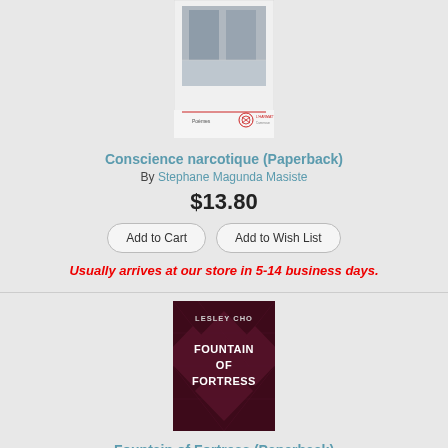[Figure (photo): Book cover of Conscience narcotique - white cover with architectural photo and publisher logo]
Conscience narcotique (Paperback)
By Stephane Magunda Masiste
$13.80
Add to Cart
Add to Wish List
Usually arrives at our store in 5-14 business days.
[Figure (photo): Book cover of Fountain of Fortress by Lesley Cho - dark red/maroon cover with geometric diamond pattern and white text]
Fountain of Fortress (Paperback)
By Lesley J. Cho
$6.90